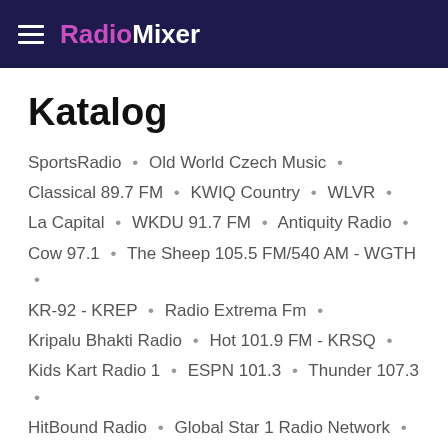RadioMixer
Katalog
SportsRadio • Old World Czech Music •
Classical 89.7 FM • KWIQ Country • WLVR •
La Capital • WKDU 91.7 FM • Antiquity Radio •
Cow 97.1 • The Sheep 105.5 FM/540 AM - WGTH •
KR-92 - KREP • Radio Extrema Fm •
Kripalu Bhakti Radio • Hot 101.9 FM - KRSQ •
Kids Kart Radio 1 • ESPN 101.3 • Thunder 107.3 •
HitBound Radio • Global Star 1 Radio Network •
Estrella 95.1 FM • KVCR 91.9FM •